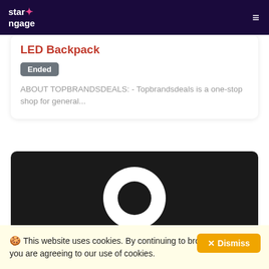star ngage
LED Backpack
Ended
ABOUT TOPBRANDSDEALS: - Topbrandsdeals is a one-stop shop for general...
[Figure (photo): Dark rounded rectangle card showing a circular profile image placeholder (white donut/ring shape on dark background)]
🍪 This website uses cookies. By continuing to browse the site you are agreeing to our use of cookies.